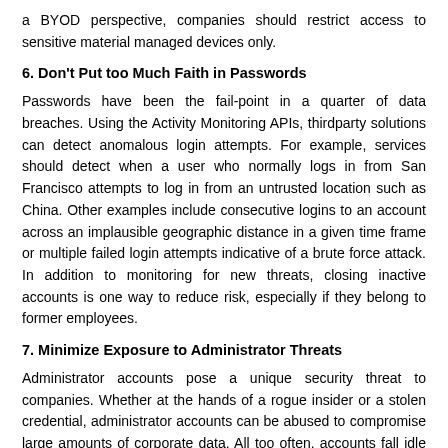a BYOD perspective, companies should restrict access to sensitive material managed devices only.
6. Don't Put too Much Faith in Passwords
Passwords have been the fail-point in a quarter of data breaches. Using the Activity Monitoring APIs, thirdparty solutions can detect anomalous login attempts. For example, services should detect when a user who normally logs in from San Francisco attempts to log in from an untrusted location such as China. Other examples include consecutive logins to an account across an implausible geographic distance in a given time frame or multiple failed login attempts indicative of a brute force attack. In addition to monitoring for new threats, closing inactive accounts is one way to reduce risk, especially if they belong to former employees.
7. Minimize Exposure to Administrator Threats
Administrator accounts pose a unique security threat to companies. Whether at the hands of a rogue insider or a stolen credential, administrator accounts can be abused to compromise large amounts of corporate data. All too often, accounts fall idle and end up as zombie administrators, which are sitting ducks for attackers to exploit. Any company transitioning to Office 365 needs to audit privilege and use of security through administrator accounts.